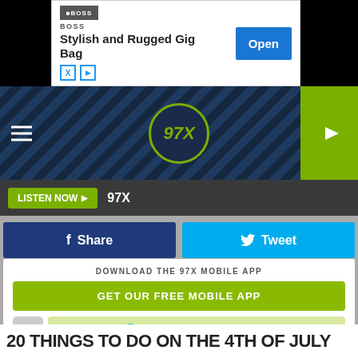[Figure (screenshot): Advertisement banner for BOSS Stylish and Rugged Gig Bag with Open button]
[Figure (logo): 97X radio station header with logo, hamburger menu, and green play button]
LISTEN NOW  97X
f Share
Tweet
DOWNLOAD THE 97X MOBILE APP
GET OUR FREE MOBILE APP
Also listen on:  amazon alexa
20 THINGS TO DO ON THE 4TH OF JULY